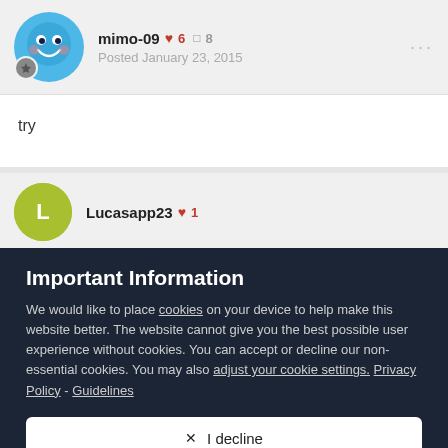mimo-09 ❤ 6 □ 8 Posted January 23, 2015
try
Lucasapp23 ❤ 1
Important Information
We would like to place cookies on your device to help make this website better. The website cannot give you the best possible user experience without cookies. You can accept or decline our non-essential cookies. You may also adjust your cookie settings. Privacy Policy - Guidelines
✕  I decline
✓  I accept